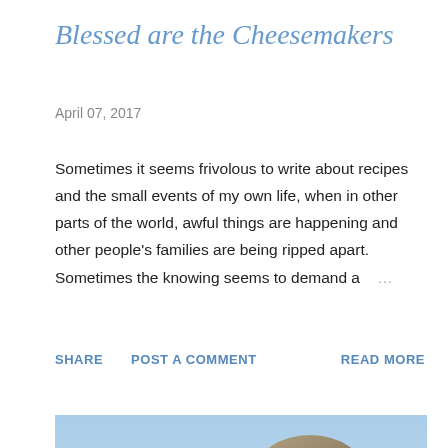Blessed are the Cheesemakers
April 07, 2017
Sometimes it seems frivolous to write about recipes and the small events of my own life, when in other parts of the world, awful things are happening and other people's families are being ripped apart.  Sometimes the knowing seems to demand a ...
SHARE   POST A COMMENT   READ MORE
[Figure (photo): Outdoor landscape photo showing a person standing near large rocky boulders on a hilltop, with rolling hills and a blue sky in the background.]